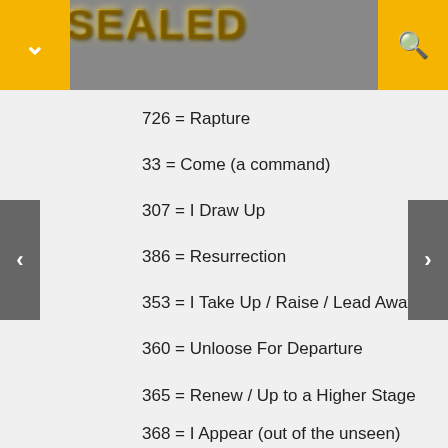UNSEALED
726 = Rapture
33 = Come (a command)
307 = I Draw Up
386 = Resurrection
353 = I Take Up / Raise / Lead Away
360 = Unloose For Departure
365 = Renew / Up to a Higher Stage
368 = I Appear (out of the unseen)